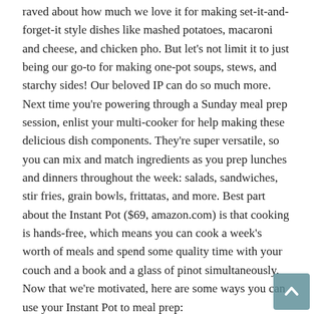raved about how much we love it for making set-it-and-forget-it style dishes like mashed potatoes, macaroni and cheese, and chicken pho. But let's not limit it to just being our go-to for making one-pot soups, stews, and starchy sides! Our beloved IP can do so much more. Next time you're powering through a Sunday meal prep session, enlist your multi-cooker for help making these delicious dish components. They're super versatile, so you can mix and match ingredients as you prep lunches and dinners throughout the week: salads, sandwiches, stir fries, grain bowls, frittatas, and more. Best part about the Instant Pot ($69, amazon.com) is that cooking is hands-free, which means you can cook a week's worth of meals and spend some quality time with your couch and a book and a glass of pinot simultaneously. Now that we're motivated, here are some ways you can use your Instant Pot to meal prep:
Cooking a Whole Chicken
Ah, rotisserie chicken—the darling of all meal prep recipes. We love it, too, but can we agree that the store-bought ones can be a bit… dry? If you cook a chicken in your Instant Pot, we promise you'll find the results are melt-in-your-mouth tender. It won't have the same crispy exterior as your oven-baked breasts or drumsticks, but for a dish like chicken curry, soup, or Pad Thai, you won't miss that one